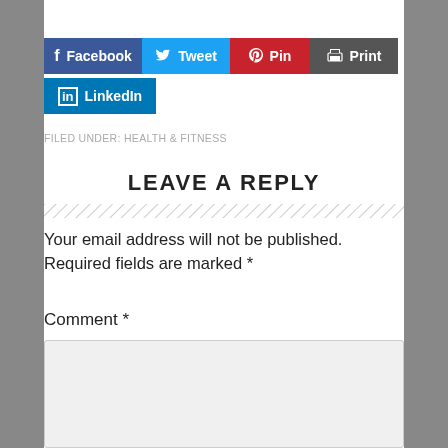[Figure (other): Social share buttons: Facebook, Tweet, Pin, Print (row 1); LinkedIn (row 2)]
FILED UNDER: HEALTH & FITNESS
LEAVE A REPLY
Your email address will not be published. Required fields are marked *
Comment *